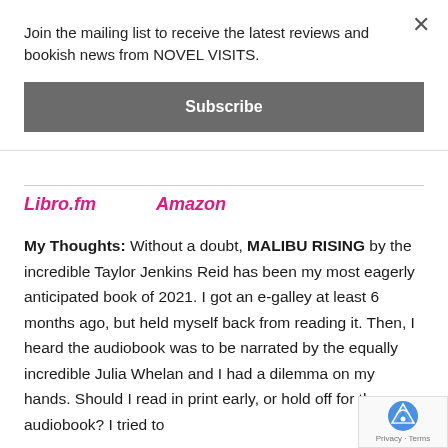Join the mailing list to receive the latest reviews and bookish news from NOVEL VISITS.
Subscribe
Libro.fm   Amazon
My Thoughts: Without a doubt, MALIBU RISING by the incredible Taylor Jenkins Reid has been my most eagerly anticipated book of 2021. I got an e-galley at least 6 months ago, but held myself back from reading it. Then, I heard the audiobook was to be narrated by the equally incredible Julia Whelan and I had a dilemma on my hands. Should I read in print early, or hold off for the audiobook? I tried to